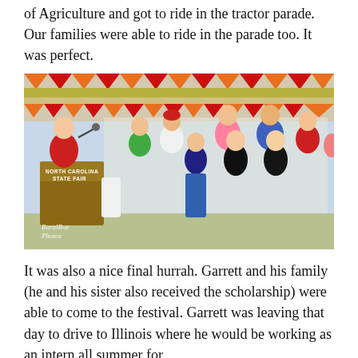of Agriculture and got to ride in the tractor parade. Our families were able to ride in the parade too. It was perfect.
[Figure (photo): Group photo at the North Carolina State Fair. A man in red speaks at a podium labeled 'North Carolina State Fair' with a group of young people standing behind him. Carnival ride structure visible in background. Photo credit: Rural Roe Photos.]
It was also a nice final hurrah. Garrett and his family (he and his sister also received the scholarship) were able to come to the festival. Garrett was leaving that day to drive to Illinois where he would be working as an intern all summer for